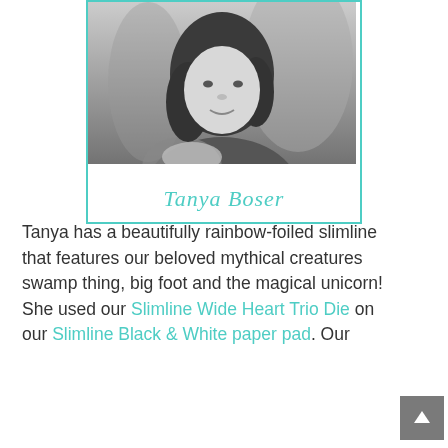[Figure (photo): Black and white portrait photo of a woman with dark hair, smiling, inside a teal-bordered card]
Tanya Boser
Tanya has a beautifully rainbow-foiled slimline that features our beloved mythical creatures swamp thing, big foot and the magical unicorn! She used our Slimline Wide Heart Trio Die on our Slimline Black & White paper pad. Our